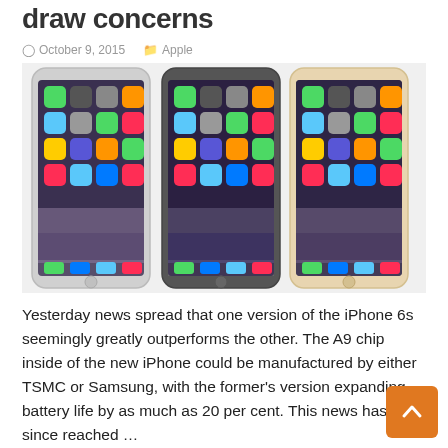draw concerns
October 9, 2015   Apple
[Figure (photo): Three iPhone 6s smartphones side by side — silver, space gray, and gold variants — all showing the iOS home screen with app icons.]
Yesterday news spread that one version of the iPhone 6s seemingly greatly outperforms the other. The A9 chip inside of the new iPhone could be manufactured by either TSMC or Samsung, with the former's version expanding battery life by as much as 20 per cent. This news has since reached …
Read More »